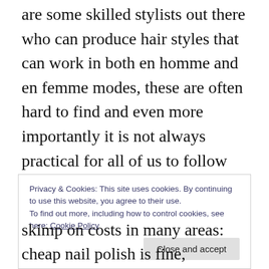are some skilled stylists out there who can produce hair styles that can work in both en homme and en femme modes, these are often hard to find and even more importantly it is not always practical for all of us to follow this route. These hairstyles don't always 'work' aesthetically for all people, many of us work in positions where such hairstyles would be considered unprofessional or just too unusual for our employers, many of us lack the patience to grow our hair and others simply are not able to get a decent head of hair: male pattern baldness is, sadly, real.
Privacy & Cookies: This site uses cookies. By continuing to use this website, you agree to their use.
To find out more, including how to control cookies, see here: Cookie Policy
skimp on costs in many areas: cheap nail polish is fine,